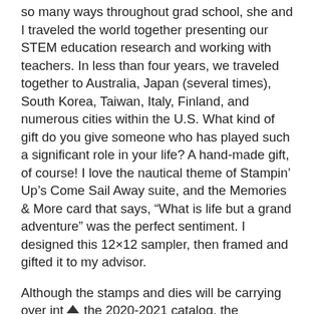so many ways throughout grad school, she and I traveled the world together presenting our STEM education research and working with teachers. In less than four years, we traveled together to Australia, Japan (several times), South Korea, Taiwan, Italy, Finland, and numerous cities within the U.S. What kind of gift do you give someone who has played such a significant role in your life? A hand-made gift, of course! I love the nautical theme of Stampin’ Up’s Come Sail Away suite, and the Memories & More card that says, “What is life but a grand adventure” was the perfect sentiment. I designed this 12×12 sampler, then framed and gifted it to my advisor.
Although the stamps and dies will be carrying over into the 2020-2021 catalog, the Designer Series Paper I used for this sampler is now listed as a Last-Chance product. This means it’s only available until June 2 or...